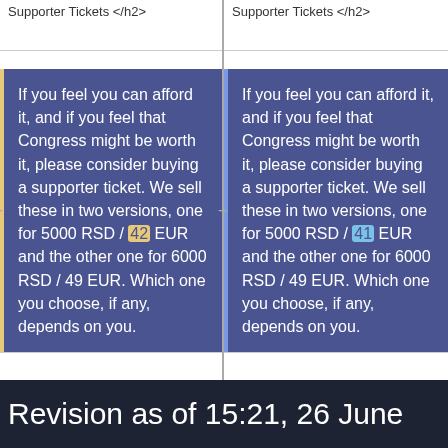Supporter Tickets </h2>
Supporter Tickets </h2>
If you feel you can afford it, and if you feel that Congress might be worth it, please consider buying a supporter ticket. We sell these in two versions, one for 5000 RSD / 42 EUR and the other one for 6000 RSD / 49 EUR. Which one you choose, if any, depends on you.
If you feel you can afford it, and if you feel that Congress might be worth it, please consider buying a supporter ticket. We sell these in two versions, one for 5000 RSD / 41 EUR and the other one for 6000 RSD / 49 EUR. Which one you choose, if any, depends on you.
<h2 style="color:#515c93">Business Tickets </h2>
<h2 style="color:#515c93">Business Tickets </h2>
Revision as of 15:21, 26 June